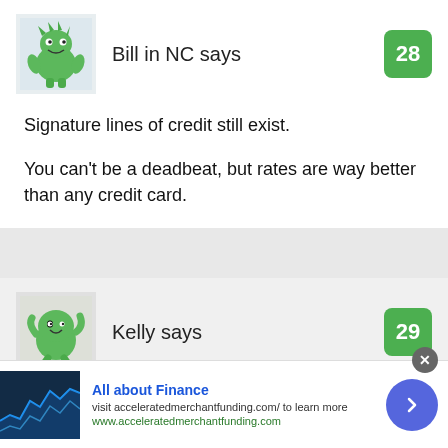Bill in NC says
28
Signature lines of credit still exist.
You can't be a deadbeat, but rates are way better than any credit card.
Kelly says
29
All about Finance
visit acceleratedmerchantfunding.com/ to learn more
www.acceleratedmerchantfunding.com